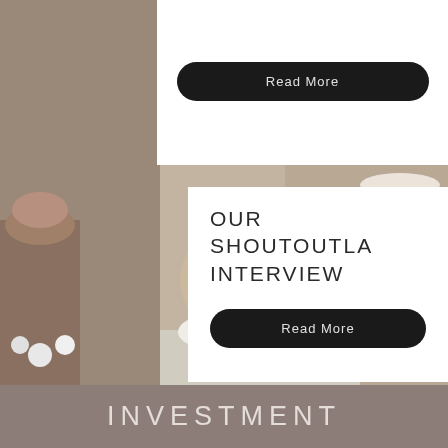[Figure (photo): Food/dessert spread photo background with cupcakes, macarons, cherries, and assorted sweets on a table.]
Read More
OUR SHOUTOUTLA INTERVIEW
Read More
INVESTMENT